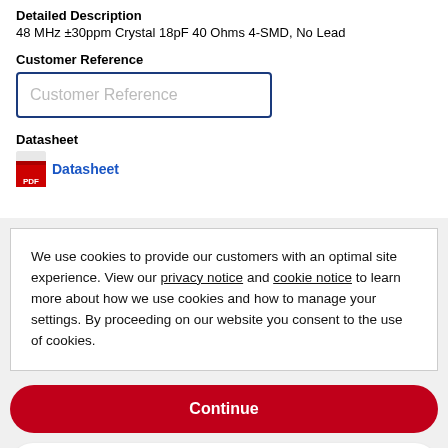Detailed Description
48 MHz ±30ppm Crystal 18pF 40 Ohms 4-SMD, No Lead
Customer Reference
Customer Reference
Datasheet
Datasheet
We use cookies to provide our customers with an optimal site experience. View our privacy notice and cookie notice to learn more about how we use cookies and how to manage your settings. By proceeding on our website you consent to the use of cookies.
Continue
Exit
Privacy Notice